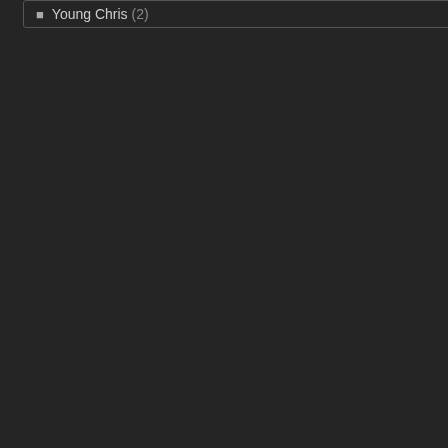Young Chris (2)
length mix incorpor and several other fa think!
Don't forget you ca individually here). T
1st & 15th Mixcast
Tracklisting:
1. Emynd – Martha
2. Capleton – That
3. Latoya Luckett –
4. Stephen Marley
5. Kenny Meez – T
6. General Degree
7. Brian Redman –
8. Emynd – Drake
9. Collie Buddz – T
10. TOK – I Feel So
11. Alicia Keys – Yo
12. Sizzla – Thanks
13. Elephant Man –
14. Emynd – Smok